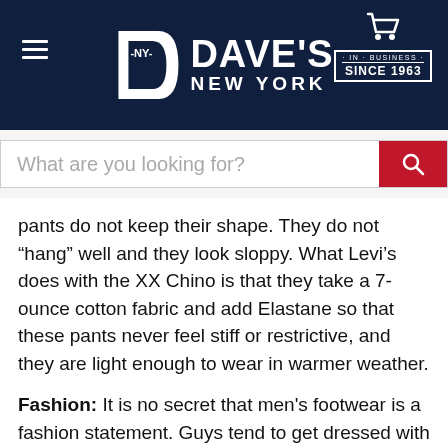[Figure (logo): Dave's New York logo with NY emblem on dark navy header background, hamburger menu icon on left, shopping cart and 'In Business Since 1963' badge on right]
[Figure (screenshot): Search bar with placeholder text 'What are you looking for?' and a red search button with magnifying glass icon]
pants do not keep their shape. They do not “hang” well and they look sloppy. What Levi’s does with the XX Chino is that they take a 7-ounce cotton fabric and add Elastane so that these pants never feel stiff or restrictive, and they are light enough to wear in warmer weather.
Fashion: It is no secret that men's footwear is a fashion statement. Guys tend to get dressed with their footwear in mind. Sneaker culture has really influenced clothing recently (more than the other way around). The XX Standard Chino allows you to put your best foot forward and show off whatever you’re wearing on your feet. The